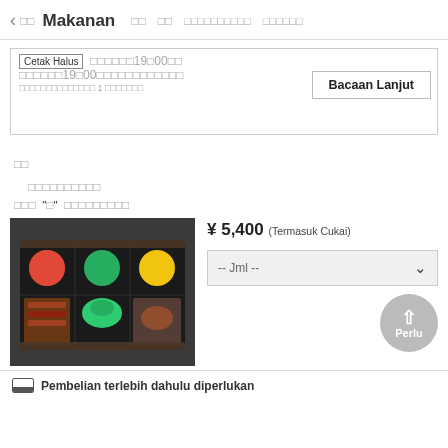< Makanan [tofu] [tofu] [tofu tofu tofu tofu tofu tofu tofu tofu tofu tofu] [tofu tofu tofu tofu tofu]
Cetak Halus [tofu characters] 19[tofu]00[tofu] [tofu tofu] 19[tofu]00[tofu][tofu tofu tofu tofu tofu tofu tofu tofu] [tofu tofu tofu] 1 [tofu tofu tofu tofu tofu][tofu]
Bacaan Lanjut
[tofu][tofu]
[tofu tofu tofu tofu tofu tofu tofu tofu tofu tofu]
[tofu][tofu][tofu] "[tofu]" [tofu tofu tofu tofu tofu tofu tofu tofu tofu]
[Figure (photo): Bento box with colorful food items including meat, vegetables, and garnishes arranged in a black lacquered box]
¥ 5,400 (Termasuk Cukai)
-- Jml --
Perlu
Pembelian terlebih dahulu diperlukan